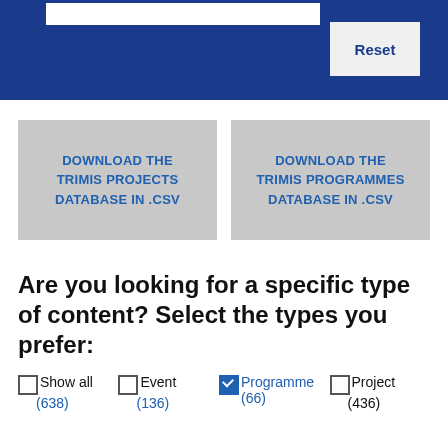[Figure (screenshot): Blue banner with search bar and Reset button at top of page]
DOWNLOAD THE TRIMIS PROJECTS DATABASE IN .CSV
DOWNLOAD THE TRIMIS PROGRAMMES DATABASE IN .CSV
Are you looking for a specific type of content? Select the types you prefer:
Show all (638)
Event (136)
Programme (66)
Project (436)